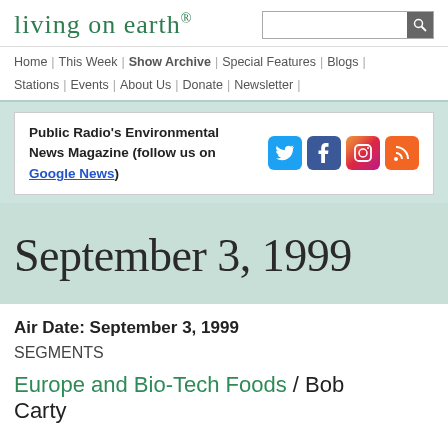living on earth®
Home | This Week | Show Archive | Special Features | Blogs | Stations | Events | About Us | Donate | Newsletter
Public Radio's Environmental News Magazine (follow us on Google News)
September 3, 1999
Air Date: September 3, 1999
SEGMENTS
Europe and Bio-Tech Foods / Bob Carty